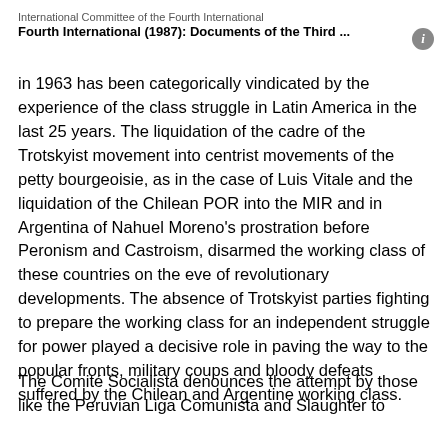International Committee of the Fourth International
Fourth International (1987): Documents of the Third ...
in 1963 has been categorically vindicated by the experience of the class struggle in Latin America in the last 25 years. The liquidation of the cadre of the Trotskyist movement into centrist movements of the petty bourgeoisie, as in the case of Luis Vitale and the liquidation of the Chilean POR into the MIR and in Argentina of Nahuel Moreno's prostration before Peronism and Castroism, disarmed the working class of these countries on the eve of revolutionary developments. The absence of Trotskyist parties fighting to prepare the working class for an independent struggle for power played a decisive role in paving the way to the popular fronts, military coups and bloody defeats suffered by the Chilean and Argentine working class.
The Comité Socialista denounces the attempt by those like the Peruvian Liga Comunista and Slaughter to